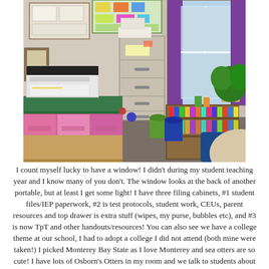[Figure (photo): Interior of a classroom or special education resource room showing a printer on a counter with colorful pink bins underneath, metal filing cabinets in the center, a bookshelf filled with binders and books, a window with purple curtains and a large houseplant, and bulletin boards with papers on the walls.]
I count myself lucky to have a window! I didn't during my student teaching year and I know many of you don't. The window looks at the back of another portable, but at least I get some light! I have three filing cabinets, #1 student files/IEP paperwork, #2 is test protocols, student work, CEUs, parent resources and top drawer is extra stuff (wipes, my purse, bubbles etc), and #3 is now TpT and other handouts/resources!  You can also see we have a college theme at our school, I had to adopt a college I did not attend (both mine were taken!) I picked Monterey Bay State as I love Monterey and sea otters are so cute! I have lots of Osborn's Otters in my room and we talk to students about being College Bound even in